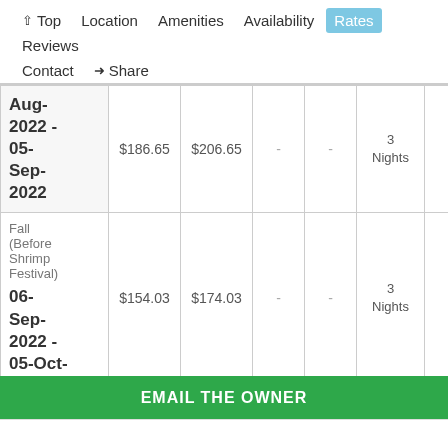↑ Top   Location   Amenities   Availability   Rates   Reviews   Contact   ➤ Share
| Season | Nightly | Weekend | Weekly | Monthly | Min Stay |
| --- | --- | --- | --- | --- | --- |
| Aug-2022 - 05-Sep-2022 | $186.65 | $206.65 | - | - | 3 Nights |
| Fall (Before Shrimp Festival) 06-Sep-2022 - 05-Oct- | $154.03 | $174.03 | - | - | 3 Nights |
EMAIL THE OWNER